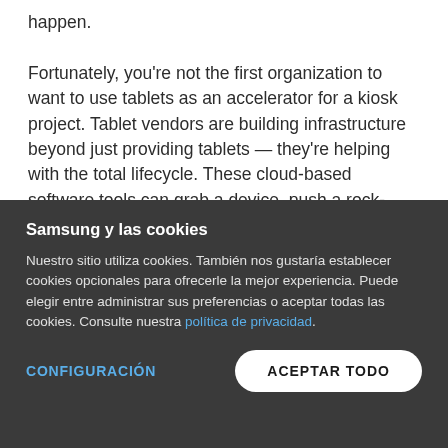happen.

Fortunately, you're not the first organization to want to use tablets as an accelerator for a kiosk project. Tablet vendors are building infrastructure beyond just providing tablets — they're helping with the total lifecycle. These cloud-based software tools can grab a device, push a rock-solid configuration to it and define all the critical kiosk features, such as
Samsung y las cookies
Nuestro sitio utiliza cookies. También nos gustaría establecer cookies opcionales para ofrecerle la mejor experiencia. Puede elegir entre administrar sus preferencias o aceptar todas las cookies. Consulte nuestra política de privacidad.
CONFIGURACIÓN
ACEPTAR TODO